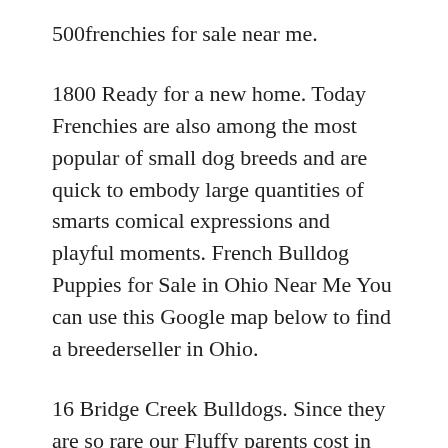500frenchies for sale near me.
1800 Ready for a new home. Today Frenchies are also among the most popular of small dog breeds and are quick to embody large quantities of smarts comical expressions and playful moments. French Bulldog Puppies for Sale in Ohio Near Me You can use this Google map below to find a breederseller in Ohio.
16 Bridge Creek Bulldogs. Since they are so rare our Fluffy parents cost in the neighborhood of 30-65k per dog. Since they are so rare our Fluffy parents cost in the neighborhood of 30-